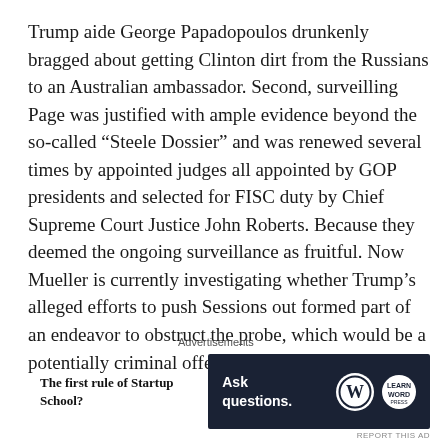Trump aide George Papadopoulos drunkenly bragged about getting Clinton dirt from the Russians to an Australian ambassador. Second, surveilling Page was justified with ample evidence beyond the so-called “Steele Dossier” and was renewed several times by appointed judges all appointed by GOP presidents and selected for FISC duty by Chief Supreme Court Justice John Roberts. Because they deemed the ongoing surveillance as fruitful. Now Mueller is currently investigating whether Trump’s alleged efforts to push Sessions out formed part of an endeavor to obstruct the probe, which would be a potentially criminal offense.
Advertisements
[Figure (other): Advertisement banner with two parts: left side shows text 'The first rule of Startup School?' and right side shows a dark navy banner with 'Ask questions.' text and WordPress and Learn logos.]